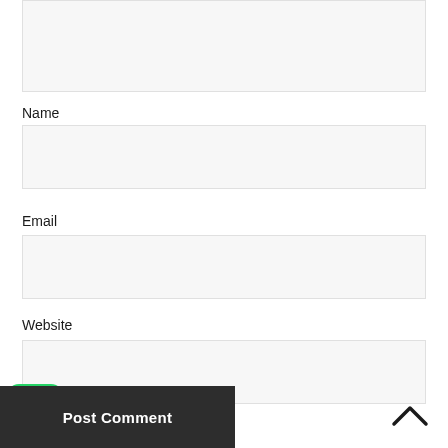[Figure (other): Empty textarea / comment input box at top of page]
Name
[Figure (other): Empty text input field for Name]
Email
[Figure (other): Empty text input field for Email]
Website
[Figure (other): Empty text input field for Website]
[Figure (logo): WhatsApp green icon logo in bottom-left corner]
Post Comment
[Figure (other): Back to top chevron arrow (^) in bottom-right corner]